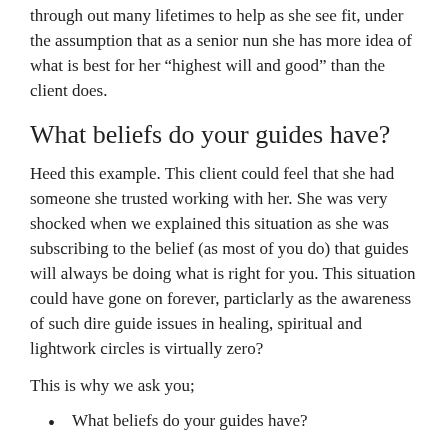through out many lifetimes to help as she see fit, under the assumption that as a senior nun she has more idea of what is best for her “highest will and good” than the client does.
What beliefs do your guides have?
Heed this example. This client could feel that she had someone she trusted working with her. She was very shocked when we explained this situation as she was subscribing to the belief (as most of you do) that guides will always be doing what is right for you. This situation could have gone on forever, particlarly as the awareness of such dire guide issues in healing, spiritual and lightwork circles is virtually zero?
This is why we ask you;
What beliefs do your guides have?
What qualifications do they have to help you in the way that you need?